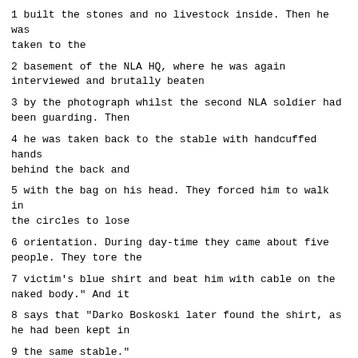1 built the stones and no livestock inside. Then he was taken to the
2 basement of the NLA HQ, where he was again interviewed and brutally beaten
3 by the photograph whilst the second NLA soldier had been guarding. Then
4 he was taken back to the stable with handcuffed hands behind the back and
5 with the bag on his head. They forced him to walk in the circles to lose
6 orientation. During day-time they came about five people. They tore the
7 victim's blue shirt and beat him with cable on the naked body." And it
8 says that "Darko Boskoski later found the shirt, as he had been kept in
9 the same stable."
10 "Then one the offenders threatened him with gun and with knife.
11 The victim was also badly beaten that he could not see through swollen